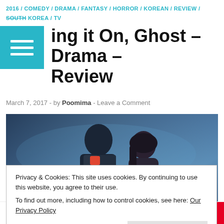2016 / COMEDY / DRAMA / FANTASY / HORROR / KOREAN / REVIEW / SOUTH KOREA / TV
Bring it On, Ghost – Drama – Review
March 7, 2017 - by Poomima - Leave a Comment
[Figure (photo): Drama poster showing two main characters, a young man and woman, against a blue atmospheric background]
Privacy & Cookies: This site uses cookies. By continuing to use this website, you agree to their use.
To find out more, including how to control cookies, see here: Our Privacy Policy
Close and accept